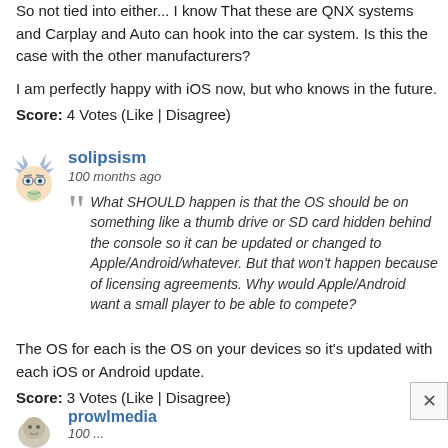So not tied into either... I know That these are QNX systems and Carplay and Auto can hook into the car system. Is this the case with the other manufacturers?

I am perfectly happy with iOS now, but who knows in the future.
Score: 4 Votes (Like | Disagree)
[Figure (illustration): Cartoon avatar of a character resembling Rick from Rick and Morty - blue spiky hair, round face with glasses]
solipsism
100 months ago
What SHOULD happen is that the OS should be on something like a thumb drive or SD card hidden behind the console so it can be updated or changed to Apple/Android/whatever. But that won't happen because of licensing agreements. Why would Apple/Android want a small player to be able to compete?
The OS for each is the OS on your devices so it's updated with each iOS or Android update.
Score: 3 Votes (Like | Disagree)
[Figure (illustration): Cartoon/avatar image at bottom left, partially visible]
prowlmedia